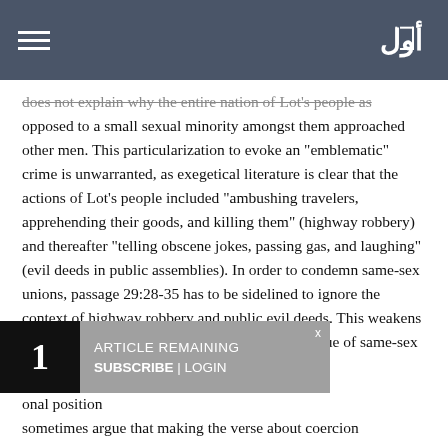[Navigation header with hamburger menu and logo]
does not explain why the entire nation of Lot's people as opposed to a small sexual minority amongst them approached other men. This particularization to evoke an "emblematic" crime is unwarranted, as exegetical literature is clear that the actions of Lot's people included "ambushing travelers, apprehending their goods, and killing them" (highway robbery) and thereafter "telling obscene jokes, passing gas, and laughing" (evil deeds in public assemblies). In order to condemn same-sex unions, passage 29:28-35 has to be sidelined to ignore the context of highway robbery and public evil deeds. This weakens the argument that the verses are reflecting the issue of same-sex unions.
1 ARTICLE REMAINING SUBSCRIBE | LOGIN
onal position sometimes argue that making the verse about coercion